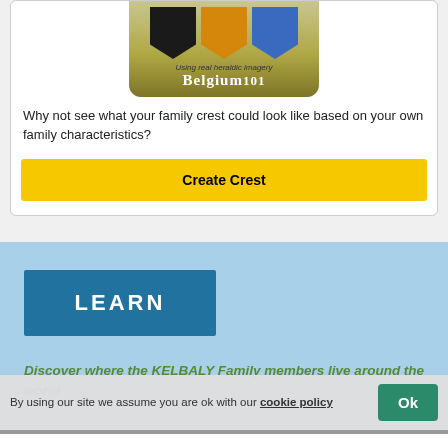[Figure (illustration): Belgium101 heraldic app image showing three shields (black, orange, blue) and text 'Using real heraldic imagery' above 'Belgium101' on a gold/olive background]
Why not see what your family crest could look like based on your own family characteristics?
Create Crest
LEARN
Discover where the KELBALY Family members live around the world
By using our site we assume you are ok with our cookie policy
Ok